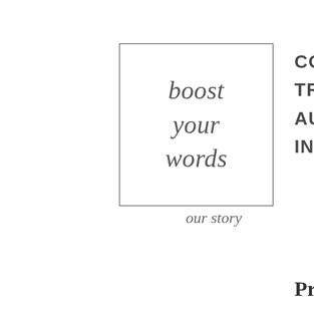[Figure (logo): Logo box with text 'boost your words' in a thin rectangular border, serif italic font]
COPY
TRAN
AUDI
INSIG
our story
what we do
Priv